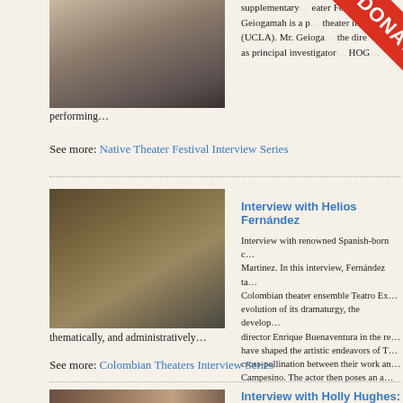[Figure (photo): Headshot of a man in a gray shirt holding papers, upper body visible]
supplementary… Native Theater Festival… Geiogamah is a professor of theater in (UCLA). Mr. Geiogamah… the director as principal investigator… performing…
See more: Native Theater Festival Interview Series
[Figure (photo): Man with long gray-streaked hair and glasses sitting in front of bookshelves]
Interview with Helios Fernández
Interview with renowned Spanish-born… Martinez. In this interview, Fernández ta… Colombian theater ensemble Teatro Ex… evolution of its dramaturgy, the develop… director Enrique Buenaventura in the re… have shaped the artistic endeavors of T… cross-pollination between their work an… Campesino. The actor then poses an as… thematically, and administratively…
See more: Colombian Theaters Interview Series
[Figure (photo): Partial view of a third interview subject]
Interview with Holly Hughes: Wh…